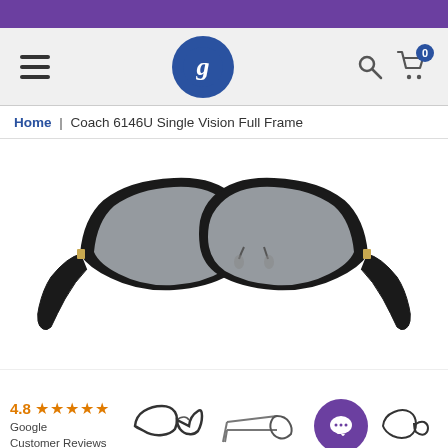[Figure (screenshot): Purple top decorative bar]
G logo navigation header with hamburger menu, search icon, and cart icon showing 0 items
Home | Coach 6146U Single Vision Full Frame
[Figure (photo): Coach 6146U black full-frame eyeglasses, cat-eye style with clear lenses, shown front-facing on white background]
[Figure (photo): Thumbnail views of the glasses: front view, side view, and three-quarter view; with Google Customer Reviews rating of 4.8 stars and a purple chat button]